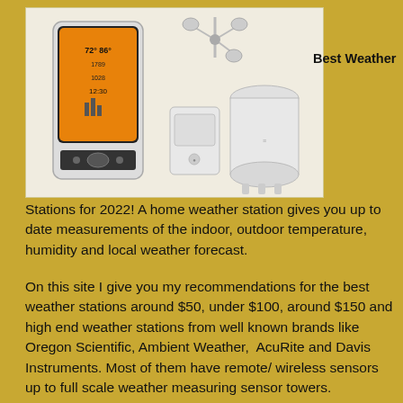[Figure (photo): Weather station product photo showing a console with orange display, wind anemometer, small wireless sensor, and a white cylindrical sensor tower]
Best Weather
Stations for 2022! A home weather station gives you up to date measurements of the indoor, outdoor temperature, humidity and local weather forecast.
On this site I give you my recommendations for the best weather stations around $50, under $100, around $150 and high end weather stations from well known brands like Oregon Scientific, Ambient Weather, AcuRite and Davis Instruments. Most of them have remote/ wireless sensors up to full scale weather measuring sensor towers.